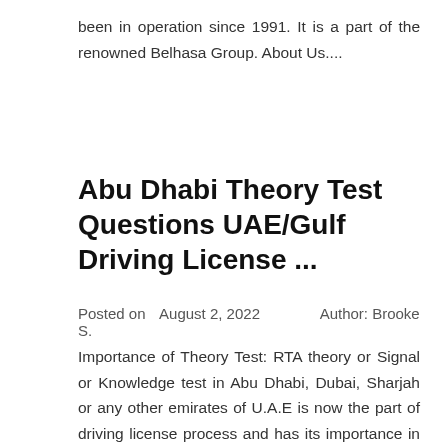been in operation since 1991. It is a part of the renowned Belhasa Group. About Us....
Abu Dhabi Theory Test Questions UAE/Gulf Driving License ...
Posted on  August 2, 2022    Author: Brooke S.
Importance of Theory Test: RTA theory or Signal or Knowledge test in Abu Dhabi, Dubai, Sharjah or any other emirates of U.A.E is now the part of driving license process and has its importance in terms of road safety. I will advise to everyone that learn the basic theory of driving it will always help